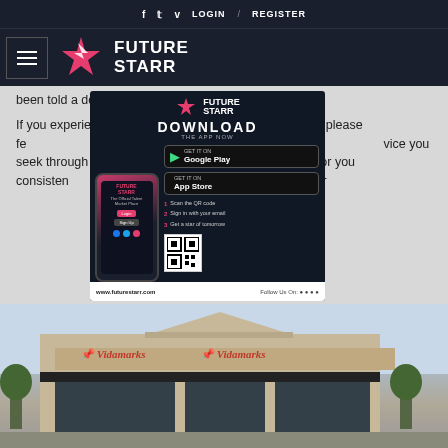f  t  v  LOGIN / REGISTER
[Figure (logo): Future Starr logo with star icon and text on dark navy header bar]
been told a dozen...
If you experience any part of this website, please fe... -9697 we will work with you to p... vice you seek through an alterna... at is accessible for you consisten... mple, through telephone suppor...
[Figure (screenshot): Future Starr app download popup with phone mockup, Google Play and App Store buttons, QR code, and steps to download]
[Figure (photo): Exterior photo of a Vidamarks retail store building with signage]